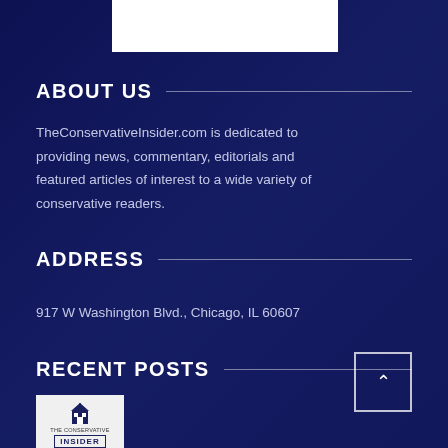ABOUT US
TheConservativeInsider.com is dedicated to providing news, commentary, editorials and featured articles of interest to a wide variety of conservative readers.
ADDRESS
917 W Washington Blvd., Chicago, IL 60607
RECENT POSTS
[Figure (logo): TheConservativeInsider.com logo with Capitol building icon and INSIDER badge]